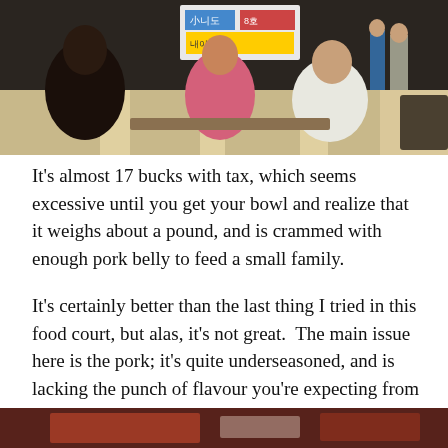[Figure (photo): Photo of people seated at a food court, Korean signage visible in background]
It’s almost 17 bucks with tax, which seems excessive until you get your bowl and realize that it weighs about a pound, and is crammed with enough pork belly to feed a small family.
It’s certainly better than the last thing I tried in this food court, but alas, it’s not great.  The main issue here is the pork; it’s quite underseasoned, and is lacking the punch of flavour you’re expecting from the dish.  It also had a vague leftover flavour, and wasn’t quite as melt-in-your-mouth tender as it should have been.  It was tasty enough, but it was nothing special.
[Figure (photo): Partial photo of food at the bottom of the page]